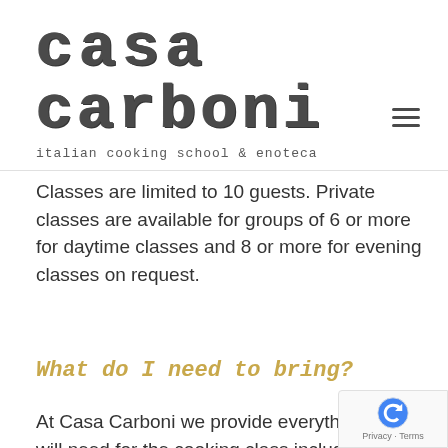casa carboni
italian cooking school & enoteca
Classes are limited to 10 guests. Private classes are available for groups of 6 or more for daytime classes and 8 or more for evening classes on request.
What do I need to bring?
At Casa Carboni we provide everything you will need for the cooking class including aprons. Please